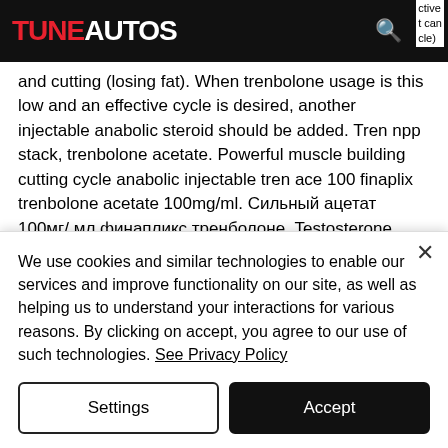TUNEAUTOS
and cutting (losing fat). When trenbolone usage is this low and an effective cycle is desired, another injectable anabolic steroid should be added. Tren npp stack, trenbolone acetate. Powerful muscle building cutting cycle anabolic injectable tren ace 100 finaplix trenbolone acetate 100mg/ml. Сильный ацетат 100мг/ мл финапликс тренболоне. Testosterone cypionate and
We use cookies and similar technologies to enable our services and improve functionality on our site, as well as helping us to understand your interactions for various reasons. By clicking on accept, you agree to our use of such technologies. See Privacy Policy